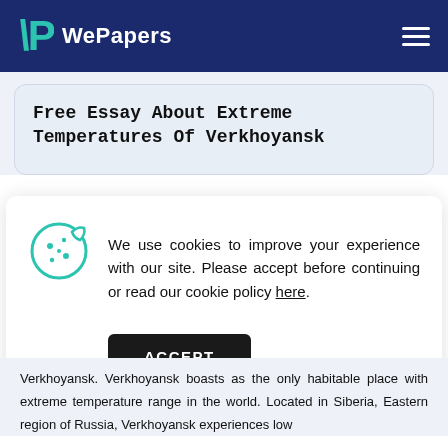WePapers
Free Essay About Extreme Temperatures Of Verkhoyansk
We use cookies to improve your experience with our site. Please accept before continuing or read our cookie policy here.
ACCEPT
Verkhoyansk. Verkhoyansk boasts as the only habitable place with extreme temperature range in the world. Located in Siberia, Eastern region of Russia, Verkhoyansk experiences low